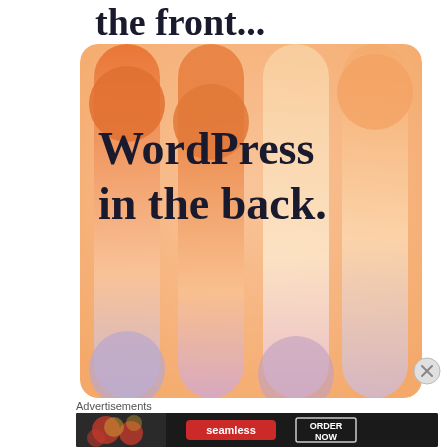the front...
[Figure (illustration): WordPress advertisement banner with orange gradient background, vertical stripe columns, decorative circles, and bold text reading 'WordPress in the back.']
Advertisements
[Figure (illustration): Seamless food delivery advertisement banner with pizza image, Seamless logo in red pill, and 'ORDER NOW' button on dark background]